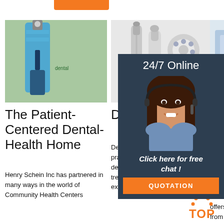[Figure (photo): Orange tab/bar at top]
[Figure (photo): Dental handpiece tool with blue handle]
The Patient-Centered Dental-Health Home
Henry Schein Inc has partnered in many ways in the world of Community Health Centers
[Figure (photo): Two dental handpieces/drills with LED head]
Dental Lights
Dental Lights. Equip your dental practice with dental lights designed to provide the best treatment and patient care experience. Dental lights allow
[Figure (photo): Dental chair wall mounted equipment]
Den Cha
Your H Schein will help solutio ergonomic, space and treatment needs. Henry Schein offers dentists the best chairs from
[Figure (infographic): 24/7 Online chat widget with agent photo, Click here for free chat, QUOTATION button overlay]
[Figure (logo): TOP logo with orange dots and text]